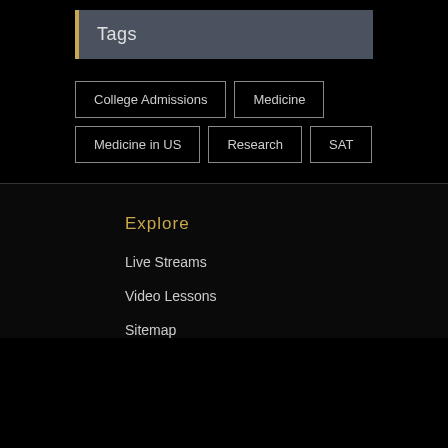Tags
College Admissions
Medicine
Medicine in US
Research
SAT
Explore
Live Streams
Video Lessons
Sitemap